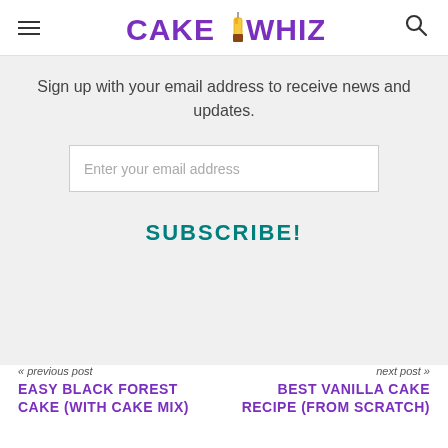CAKE WHIZ
Sign up with your email address to receive news and updates.
Enter your email address
SUBSCRIBE!
« previous post
EASY BLACK FOREST CAKE (WITH CAKE MIX)
next post »
BEST VANILLA CAKE RECIPE (FROM SCRATCH)